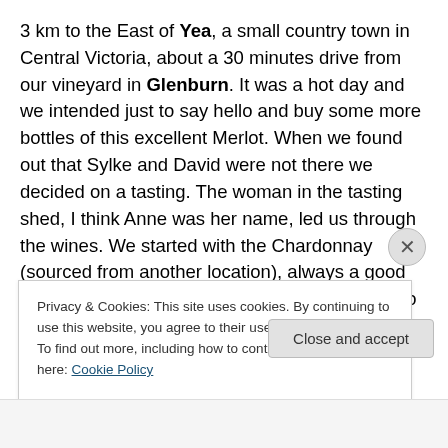3 km to the East of Yea, a small country town in Central Victoria, about a 30 minutes drive from our vineyard in Glenburn. It was a hot day and we intended just to say hello and buy some more bottles of this excellent Merlot. When we found out that Sylke and David were not there we decided on a tasting. The woman in the tasting shed, I think Anne was her name, led us through the wines. We started with the Chardonnay (sourced from another location), always a good drink at a hot day, and than we went straight into the reds. The '2003 Wolter's Run Merlot' was, unfortunately for us, sold out. We tried the
Privacy & Cookies: This site uses cookies. By continuing to use this website, you agree to their use.
To find out more, including how to control cookies, see here: Cookie Policy